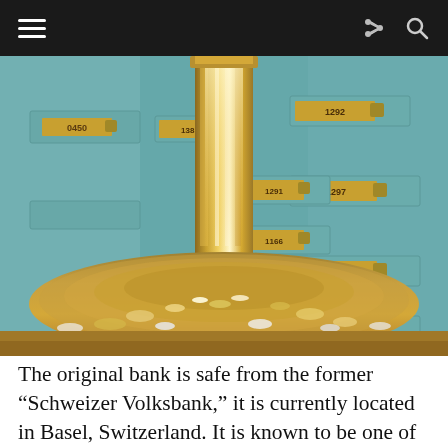[Figure (photo): Interior of a bank vault from the former Schweizer Volksbank, showing a large pile of gold coins and valuables at the base of a gilded central column, surrounded by numbered safe deposit boxes on teal/mint green walls.]
The original bank is safe from the former “Schweizer Volksbank,” it is currently located in Basel, Switzerland. It is known to be one of the finest Swiss pieces of craftwork from the early 20th Century, with the striking history behind it. Still usable and in very good shape, its